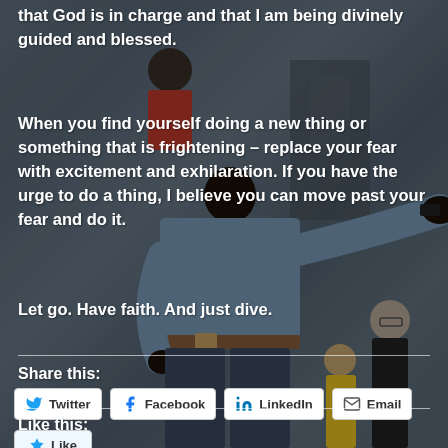[Figure (photo): Background photo of a Black man in a light blue shirt gesturing with his arm outstretched, speaking to a crowd. Other people visible in the background.]
that God is in charge and that I am being divinely guided and blessed.
When you find yourself doing a new thing or something that is frightening – replace your fear with excitement and exhilaration. If you have the urge to do a thing, I believe you can move past your fear and do it.
Let go. Have faith. And just dive.
Share this:
Twitter | Facebook | LinkedIn | Email
Like this:
Like